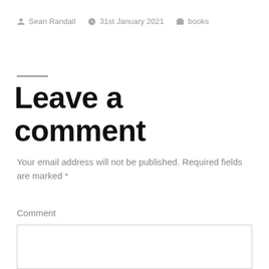Sean Randall  31st January 2021  books
Leave a comment
Your email address will not be published. Required fields are marked *
Comment